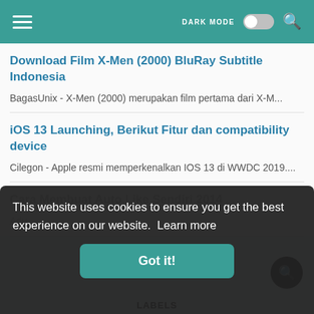DARK MODE [toggle] [search]
Download Film X-Men (2000) BluRay Subtitle Indonesia
BagasUnix - X-Men (2000) merupakan film pertama dari X-M...
iOS 13 Launching, Berikut Fitur dan compatibility device
Cilegon - Apple resmi memperkenalkan IOS 13 di WWDC 2019....
Cara Membuat Auto Like Sendiri 2014
Adu...
This website uses cookies to ensure you get the best experience on our website.  Learn more
Got it!
LABELS